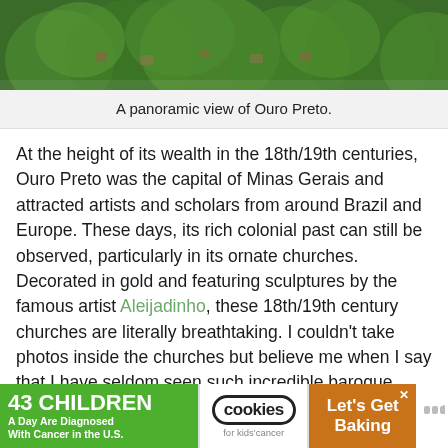[Figure (photo): Aerial/panoramic photo of Ouro Preto showing dense green forest and city rooftops]
A panoramic view of Ouro Preto.
At the height of its wealth in the 18th/19th centuries, Ouro Preto was the capital of Minas Gerais and attracted artists and scholars from around Brazil and Europe. These days, its rich colonial past can still be observed, particularly in its ornate churches. Decorated in gold and featuring sculptures by the famous artist Aleijadinho, these 18th/19th century churches are literally breathtaking. I couldn't take photos inside the churches but believe me when I say that I have seldom seen such incredible baroque interiors, all draped in gold!
[Figure (other): Advertisement banner: 43 CHILDREN A Day Are Diagnosed With Cancer in the U.S. — cookies for kids' cancer — Let's Get Baking]